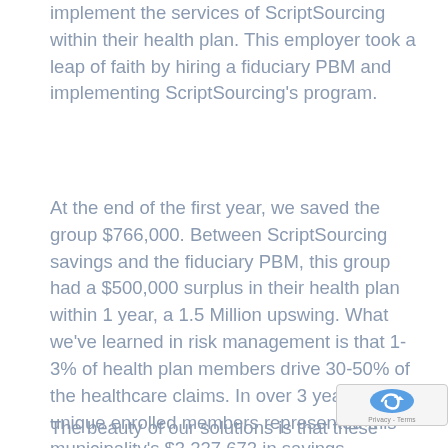implement the services of ScriptSourcing within their health plan. This employer took a leap of faith by hiring a fiduciary PBM and implementing ScriptSourcing's program.
At the end of the first year, we saved the group $766,000. Between ScriptSourcing savings and the fiduciary PBM, this group had a $500,000 surplus in their health plan within 1 year, a 1.5 Million upswing. What we've learned in risk management is that 1-3% of health plan members drive 30-50% of the healthcare claims. In over 3 years, 104 unique enrolled members represented this municipality's $3,227,672 in savings.
The beauty of our solutions is that these employees were able to get their maintenance